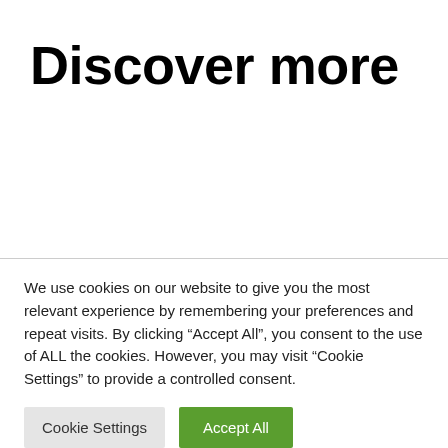Discover more
We use cookies on our website to give you the most relevant experience by remembering your preferences and repeat visits. By clicking “Accept All”, you consent to the use of ALL the cookies. However, you may visit “Cookie Settings” to provide a controlled consent.
Cookie Settings | Accept All